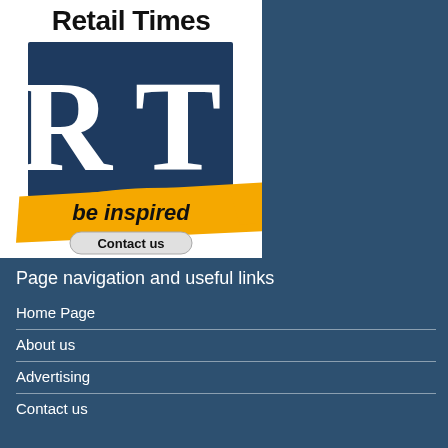[Figure (logo): Retail Times logo with blue square containing white 'RT' letters, yellow brushstroke banner with 'be inspired' text, and 'Contact us' button below the logo text 'Retail Times']
Page navigation and useful links
Home Page
About us
Advertising
Contact us